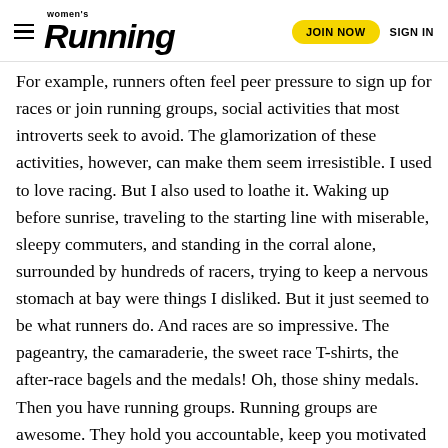Women's Running — JOIN NOW  SIGN IN
For example, runners often feel peer pressure to sign up for races or join running groups, social activities that most introverts seek to avoid. The glamorization of these activities, however, can make them seem irresistible. I used to love racing. But I also used to loathe it. Waking up before sunrise, traveling to the starting line with miserable, sleepy commuters, and standing in the corral alone, surrounded by hundreds of racers, trying to keep a nervous stomach at bay were things I disliked. But it just seemed to be what runners do. And races are so impressive. The pageantry, the camaraderie, the sweet race T-shirts, the after-race bagels and the medals! Oh, those shiny medals. Then you have running groups. Running groups are awesome. They hold you accountable, keep you motivated and oftentimes keep you safe on the road. But for an introvert, the idea of having to make small talk, or worse, giving up precious alone time, can feel like a nightmare.